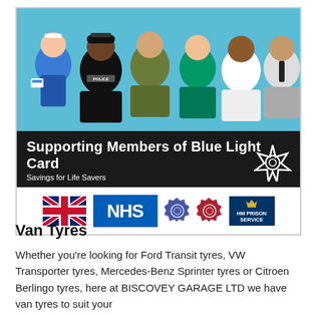[Figure (illustration): Blue Light Card banner showing illustrated key workers (nurse, police officer, soldier, paramedic, doctor, prison officer) on blue background with logos including Union Jack, NHS, police badges, and HM Prison Service. Text reads 'Supporting Members of Blue Light Card' and 'Savings for Life Savers'.]
Van Tyres
Whether you're looking for Ford Transit tyres, VW Transporter tyres, Mercedes-Benz Sprinter tyres or Citroen Berlingo tyres, here at BISCOVEY GARAGE LTD we have van tyres to suit your